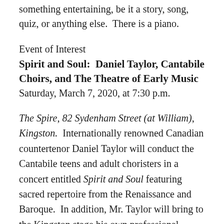something entertaining, be it a story, song, quiz, or anything else.  There is a piano.
Event of Interest
Spirit and Soul:  Daniel Taylor, Cantabile Choirs, and The Theatre of Early Music
Saturday, March 7, 2020, at 7:30 p.m.
The Spire, 82 Sydenham Street (at William), Kingston.  Internationally renowned Canadian countertenor Daniel Taylor will conduct the Cantabile teens and adult choristers in a concert entitled Spirit and Soul featuring sacred repertoire from the Renaissance and Baroque.  In addition, Mr. Taylor will bring to the Kingston stage his own professional